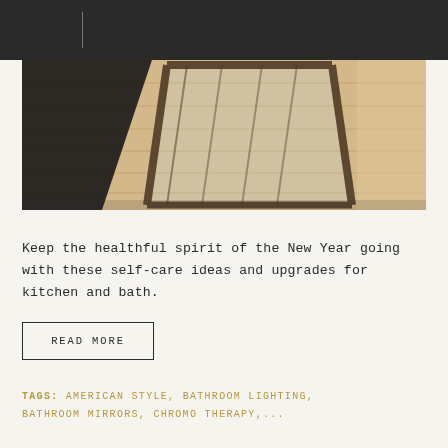[Figure (photo): Interior photograph showing a bathroom/closet area with wooden floor planks, a large mirror or glass panel with a dark frame, and reflections. Dark upper left corner, warm wood tones throughout.]
Keep the healthful spirit of the New Year going with these self-care ideas and upgrades for kitchen and bath.
READ MORE
Tags: AMERICAN STYLE, BATHROOM LIGHTING, BATHROOM MIRRORS, CHROMO THERAPY,...